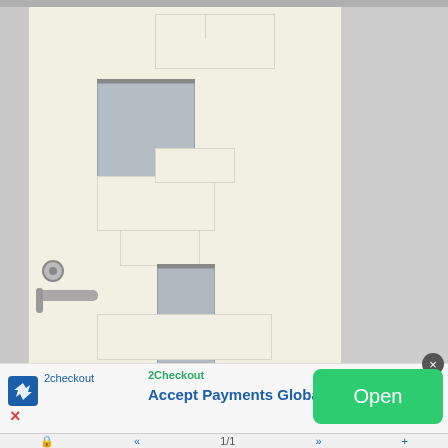[Figure (screenshot): Screenshot of a mobile app or website showing a white/cream colored modern door with geometric panel cutouts and two frosted glass windows, displayed against a gray background. A doorknob and lever handle are visible on the left side of the door.]
2Checkout
Accept Payments Globally
Open
1/1